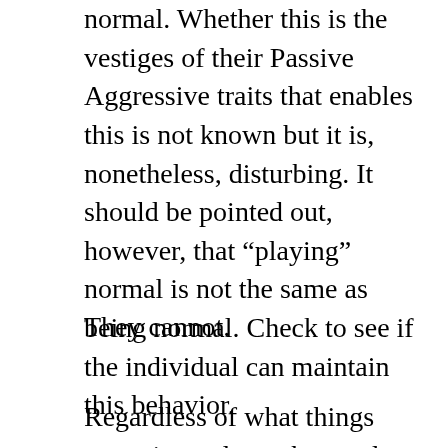normal. Whether this is the vestiges of their Passive Aggressive traits that enables this is not known but it is, nonetheless, disturbing. It should be pointed out, however, that “playing” normal is not the same as being normal. Check to see if the individual can maintain this behavior.
They cannot.
Regardless of what things transpire and are observed from a distance, being close to the disease is like living in a nightmare that one cannot wake from. Dementia is frightening for everyone, the one suffering